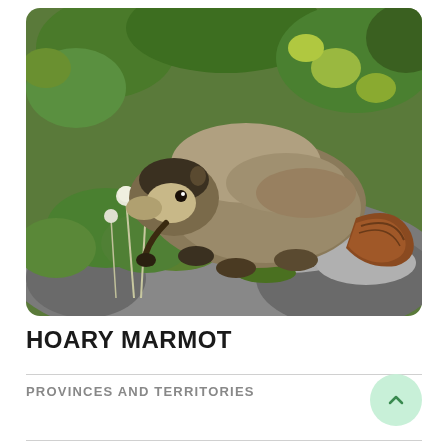[Figure (photo): A hoary marmot perched on a grey rock surrounded by green alpine vegetation and small white wildflowers. The marmot has greyish-brown fur on its back, a lighter face, and a reddish-brown bushy tail.]
HOARY MARMOT
PROVINCES AND TERRITORIES